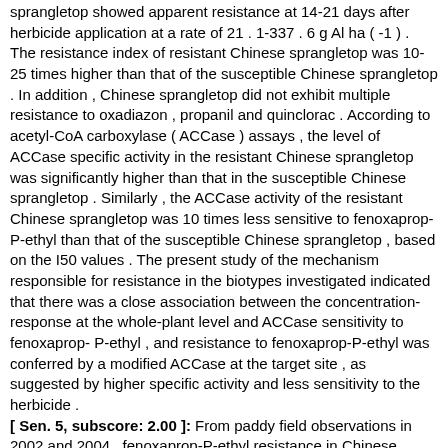sprangletop showed apparent resistance at 14-21 days after herbicide application at a rate of 21 . 1-337 . 6 g Al ha ( -1 ) . The resistance index of resistant Chinese sprangletop was 10-25 times higher than that of the susceptible Chinese sprangletop . In addition , Chinese sprangletop did not exhibit multiple resistance to oxadiazon , propanil and quinclorac . According to acetyl-CoA carboxylase ( ACCase ) assays , the level of ACCase specific activity in the resistant Chinese sprangletop was significantly higher than that in the susceptible Chinese sprangletop . Similarly , the ACCase activity of the resistant Chinese sprangletop was 10 times less sensitive to fenoxaprop-P-ethyl than that of the susceptible Chinese sprangletop , based on the I50 values . The present study of the mechanism responsible for resistance in the biotypes investigated indicated that there was a close association between the concentration-response at the whole-plant level and ACCase sensitivity to fenoxaprop-P-ethyl , and resistance to fenoxaprop-P-ethyl was conferred by a modified ACCase at the target site , as suggested by higher specific activity and less sensitivity to the herbicide . [ Sen. 5, subscore: 2.00 ]: From paddy field observations in 2002 and 2004 , fenoxaprop-P-ethyl resistance in Chinese sprangletop ( Leptochloa chinensis ( L ) Nees ) has been studied using information collected from 11 sites in the Saphan-Sung district of Bangkok , Thailand . The resistant Chinese sprangletop was found in nine rice fields , whereas the susceptible Chinese sprangletop was found in only two rice fields . In greenhouse experiments , both fenoxaprop-P-ethyl-resistant and susceptible Chinese sprangletop from the same location were investigated for 50% growth reduction based on phytotoxicity , plant height and fresh and dry weight . The resistant Chinese sprangletop showed apparent resistance at 14-21 days after herbicide application at a rate of 21 . 1-337 . 6 g Al ha ( -1 ) . The resistance index of resistant Chinese sprangletop was 10-25 times higher than that of the susceptible Chinese sprangletop . In addition , Chinese sprangletop